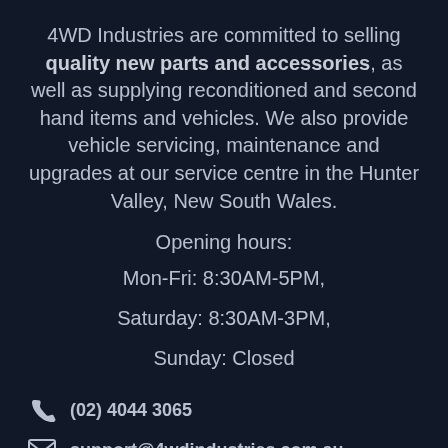4WD Industries are committed to selling quality new parts and accessories, as well as supplying reconditioned and second hand items and vehicles. We also provide vehicle servicing, maintenance and upgrades at our service centre in the Hunter Valley, New South Wales.
Opening hours:
Mon-Fri: 8:30AM-5PM,
Saturday: 8:30AM-3PM,
Sunday: Closed
(02) 4044 3065
support@4wdindustries.com.au